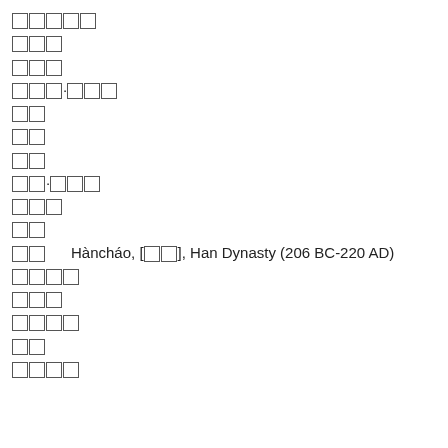□□□□□
□□□
□□□
□□□·□□□
□□
□□
□□
□□·□□□
□□□
□□
□□  Hàncháo, [□□], Han Dynasty (206 BC-220 AD)
□□□□
□□□
□□□□
□□
□□□□